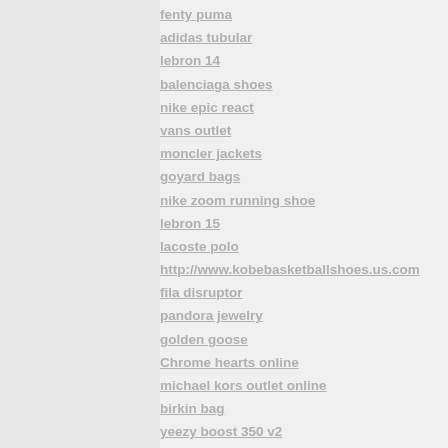fenty puma
adidas tubular
lebron 14
balenciaga shoes
nike epic react
vans outlet
moncler jackets
goyard bags
nike zoom running shoe
lebron 15
lacoste polo
http://www.kobebasketballshoes.us.com
fila disruptor
pandora jewelry
golden goose
Chrome hearts online
michael kors outlet online
birkin bag
yeezy boost 350 v2
golden goose sneakers
retro jordans
yeezy boost
kobe 11
off white
ray ban sunglasses
nba jerseys
birkin bag